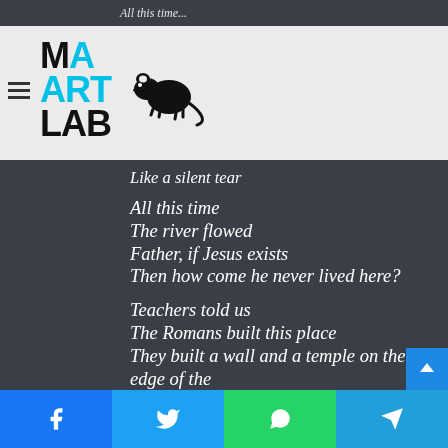Mad Art Lab logo with hamburger menu
Like a silent tear

All this time
The river flowed
Father, if Jesus exists
Then how come he never lived here?

Teachers told us
The Romans built this place
They built a wall and a temple on the edge of the
Empire garrison town
They lived and they died
Facebook | Twitter | WhatsApp | Telegram